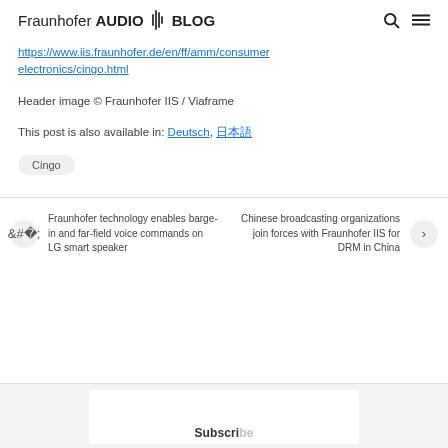Fraunhofer AUDIO BLOG
https://www.iis.fraunhofer.de/en/ff/amm/consumer-electronics/cingo.html
Header image © Fraunhofer IIS / Viaframe
This post is also available in: Deutsch, 日本語
Cingo
Fraunhofer technology enables barge-in and far-field voice commands on LG smart speaker
Chinese broadcasting organizations join forces with Fraunhofer IIS for DRM in China
Subscribe